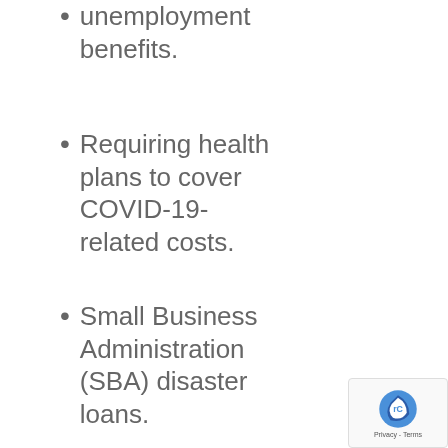unemployment benefits.
Requiring health plans to cover COVID-19-related costs.
Small Business Administration (SBA) disaster loans.
Loans for large corporations.
Parts of the CARES Act will likely benefit your organization and